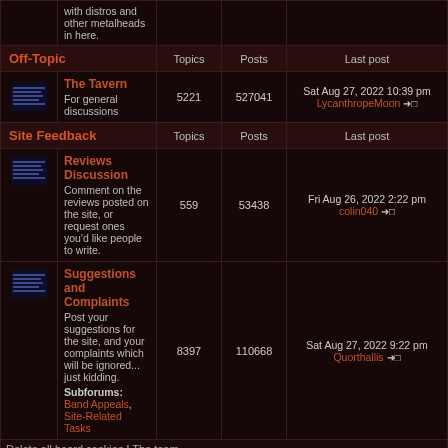|  | Off-Topic | Topics | Posts | Last post |
| --- | --- | --- | --- | --- |
| [icon] | The Tavern
For general discussions | 5221 | 527041 | Sat Aug 27, 2022 10:39 pm
LycanthropeMoon |
|  | Site Feedback | Topics | Posts | Last post |
| --- | --- | --- | --- | --- |
| [icon] | Reviews Discussion
Comment on the reviews posted on the site, or request ones you'd like people to write. | 559 | 53438 | Fri Aug 26, 2022 2:22 pm
colin040 |
| [icon] | Suggestions and Complaints
Post your suggestions for the site, and your complaints which will be ignored... just kidding.
Subforums: Band Appeals, Site-Related Tasks | 8397 | 110668 | Sat Aug 27, 2022 9:22 pm
Quorthallis |
Delete all board cookies | The team
Who is online
In total there are 76 users online :: 3 registered, 1 hidden and 72 guests (based on users active over the past 5 minutes)
Most users ever online was 3904 on Tue Jun 22, 2021 1:04 am